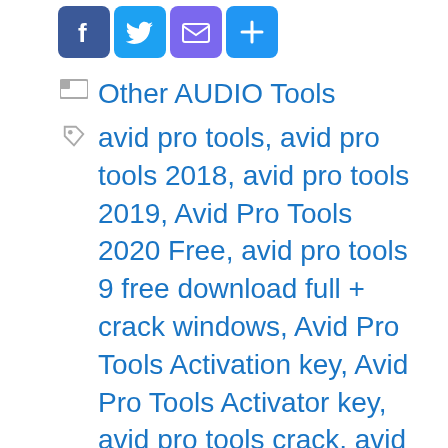[Figure (other): Row of four social sharing icon buttons: Facebook (blue square with f), Twitter (light blue square with bird), Email (purple square with envelope), and a blue plus/share button]
Other AUDIO Tools
avid pro tools, avid pro tools 2018, avid pro tools 2019, Avid Pro Tools 2020 Free, avid pro tools 9 free download full + crack windows, Avid Pro Tools Activation key, Avid Pro Tools Activator key, avid pro tools crack, avid pro tools dock, avid pro tools first, avid pro tools floating license, Avid Pro Tools Full free, Avid Pro Tools Generator Key, avid pro tools hd, avid pro tools hd license, Avid Pro Tools keygen Free, avid pro tools license, Avid Pro Tools License key, avid pro tools license transfer, Avid Pro Tools Mac, avid pro